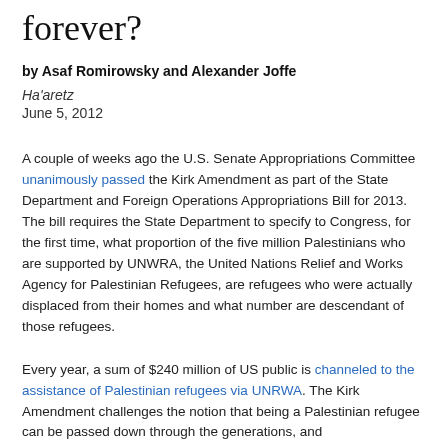forever?
by Asaf Romirowsky and Alexander Joffe
Ha'aretz
June 5, 2012
A couple of weeks ago the U.S. Senate Appropriations Committee unanimously passed the Kirk Amendment as part of the State Department and Foreign Operations Appropriations Bill for 2013. The bill requires the State Department to specify to Congress, for the first time, what proportion of the five million Palestinians who are supported by UNWRA, the United Nations Relief and Works Agency for Palestinian Refugees, are refugees who were actually displaced from their homes and what number are descendant of those refugees.
Every year, a sum of $240 million of US public is channeled to the assistance of Palestinian refugees via UNRWA. The Kirk Amendment challenges the notion that being a Palestinian refugee can be passed down through the generations, and